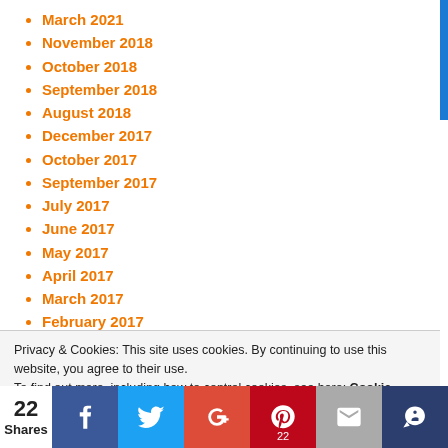March 2021
November 2018
October 2018
September 2018
August 2018
December 2017
October 2017
September 2017
July 2017
June 2017
May 2017
April 2017
March 2017
February 2017
August 2016
Privacy & Cookies: This site uses cookies. By continuing to use this website, you agree to their use. To find out more, including how to control cookies, see here: Cookie Policy